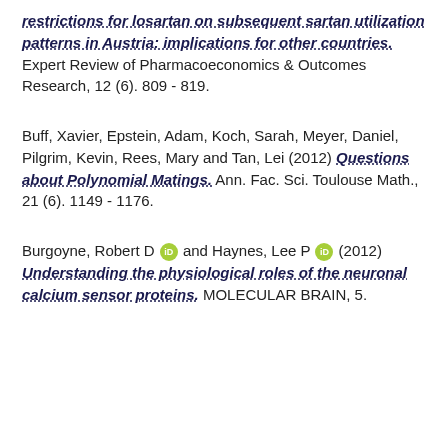restrictions for losartan on subsequent sartan utilization patterns in Austria: implications for other countries. Expert Review of Pharmacoeconomics & Outcomes Research, 12 (6). 809 - 819.
Buff, Xavier, Epstein, Adam, Koch, Sarah, Meyer, Daniel, Pilgrim, Kevin, Rees, Mary and Tan, Lei (2012) Questions about Polynomial Matings. Ann. Fac. Sci. Toulouse Math., 21 (6). 1149 - 1176.
Burgoyne, Robert D [orcid] and Haynes, Lee P [orcid] (2012) Understanding the physiological roles of the neuronal calcium sensor proteins. MOLECULAR BRAIN, 5.